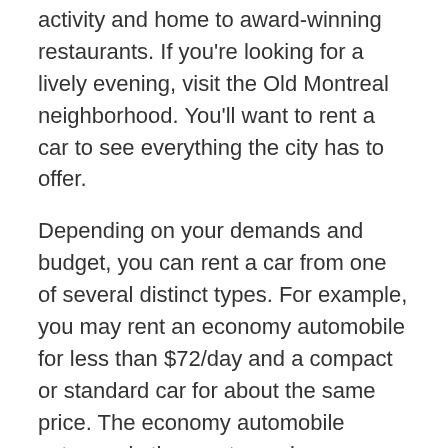activity and home to award-winning restaurants. If you're looking for a lively evening, visit the Old Montreal neighborhood. You'll want to rent a car to see everything the city has to offer.
Depending on your demands and budget, you can rent a car from one of several distinct types. For example, you may rent an economy automobile for less than $72/day and a compact or standard car for about the same price. The economy automobile category is the most popular, however, an economy vehicle and a standard car are also available. The Nissan Note, Chevrolet Spark, and Hyundai Elantra are all popular models, so make sure to verify the size of your rental car before making a reservation.
While in Montreal, rent a car online